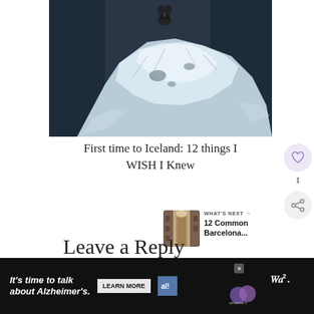[Figure (photo): Aerial/overhead view of a person standing on a large piece of glacier ice on a dark black sand beach in Iceland. The ice appears white and translucent, contrasting with the dark volcanic sand. The person is viewed from above wearing dark clothing and boots.]
First time to Iceland: 12 things I WISH I Knew
1
WHAT'S NEXT → 12 Common Barcelona...
Leave a Reply
It's time to talk about Alzheimer's. LEARN MORE